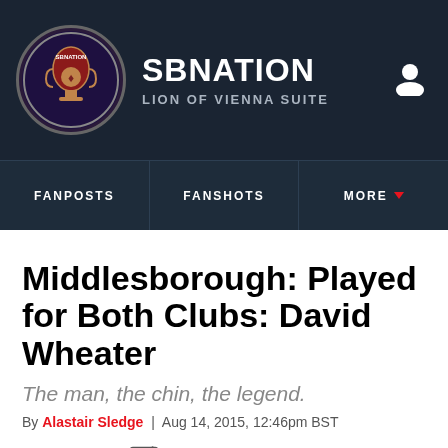SBNATION — LION OF VIENNA SUITE
FANPOSTS | FANSHOTS | MORE
Middlesborough: Played for Both Clubs: David Wheater
The man, the chin, the legend.
By Alastair Sledge | Aug 14, 2015, 12:46pm BST
[Figure (screenshot): Share bar with Facebook, Twitter, and Share icons]
[Figure (photo): Dark image strip at bottom of page]